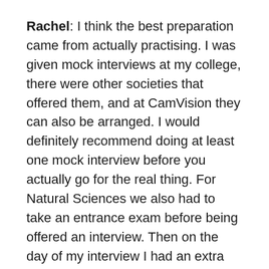Rachel: I think the best preparation came from actually practising. I was given mock interviews at my college, there were other societies that offered them, and at CamVision they can also be arranged. I would definitely recommend doing at least one mock interview before you actually go for the real thing. For Natural Sciences we also had to take an entrance exam before being offered an interview. Then on the day of my interview I had an extra paper that I had to sit specifically for my college as well. This last one will vary from college to college, so it's worth keeping in mind that there may be slightly different processes for each.
How did you feel before your